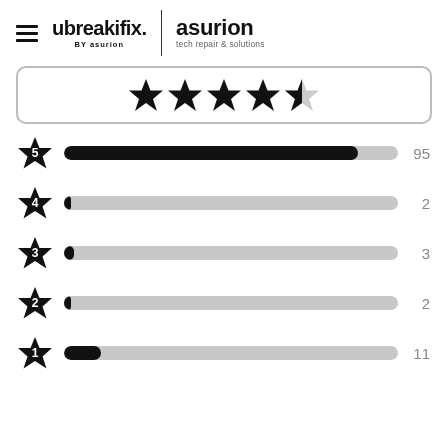[Figure (logo): ubreakifix by asurion logo and asurion tech repair & solutions logo]
[Figure (infographic): 4.5 star rating shown with 5 filled/half stars in a rounded rectangle]
[Figure (bar-chart): Star rating distribution]